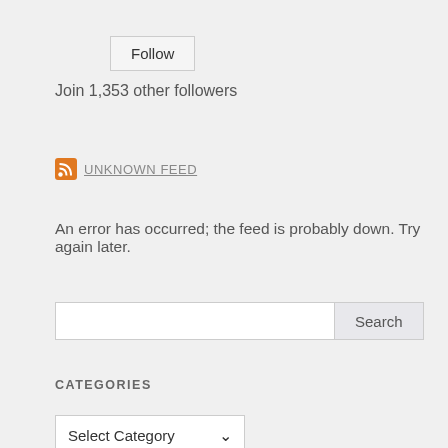Follow
Join 1,353 other followers
UNKNOWN FEED
An error has occurred; the feed is probably down. Try again later.
Search
CATEGORIES
Select Category